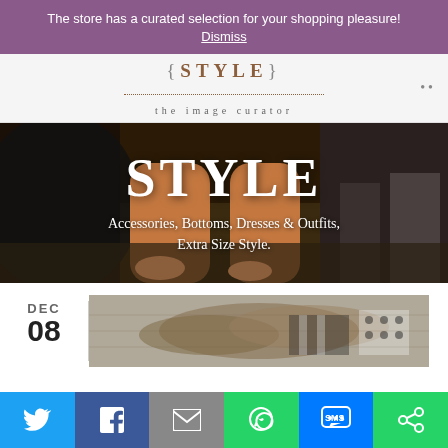The store has a curated selection for your shopping pleasure!
Dismiss
[Figure (logo): Style - the image curator logo with bracketed text and dotted underline]
[Figure (photo): Fashion photo showing model legs in heels on runway, overlaid with large white STYLE text and category links]
DEC
08
[Figure (photo): Thumbnail image of accessories/jewelry items]
[Figure (infographic): Social sharing bar with Twitter, Facebook, Email, WhatsApp, SMS, and More buttons]